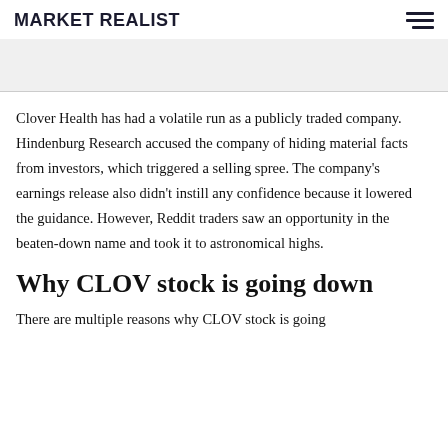MARKET REALIST
Clover Health has had a volatile run as a publicly traded company. Hindenburg Research accused the company of hiding material facts from investors, which triggered a selling spree. The company's earnings release also didn't instill any confidence because it lowered the guidance. However, Reddit traders saw an opportunity in the beaten-down name and took it to astronomical highs.
Why CLOV stock is going down
There are multiple reasons why CLOV stock is going